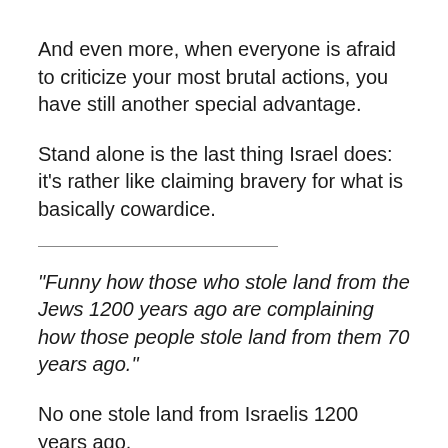And even more, when everyone is afraid to criticize your most brutal actions, you have still another special advantage.
Stand alone is the last thing Israel does: it's rather like claiming bravery for what is basically cowardice.
“Funny how those who stole land from the Jews 1200 years ago are complaining how those people stole land from them 70 years ago.”
No one stole land from Israelis 1200 years ago.
The Roman conquered the region in the first century of the Common Era.
There is no record of the Roman’s turning out the